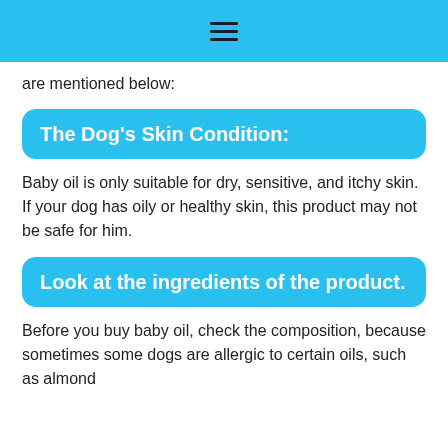≡
are mentioned below:
The Dog's Skin Condition:
Baby oil is only suitable for dry, sensitive, and itchy skin. If your dog has oily or healthy skin, this product may not be safe for him.
Look at the ingredients of the product.
Before you buy baby oil, check the composition, because sometimes some dogs are allergic to certain oils, such as almond